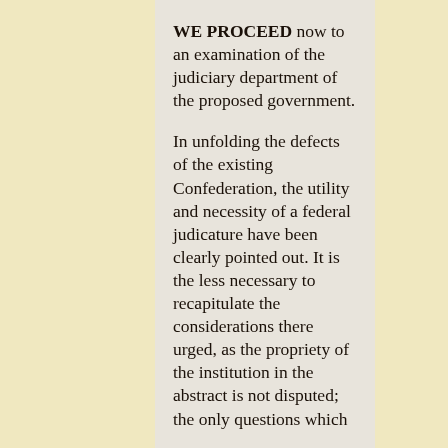WE PROCEED now to an examination of the judiciary department of the proposed government.
In unfolding the defects of the existing Confederation, the utility and necessity of a federal judicature have been clearly pointed out. It is the less necessary to recapitulate the considerations there urged, as the propriety of the institution in the abstract is not disputed; the only questions which